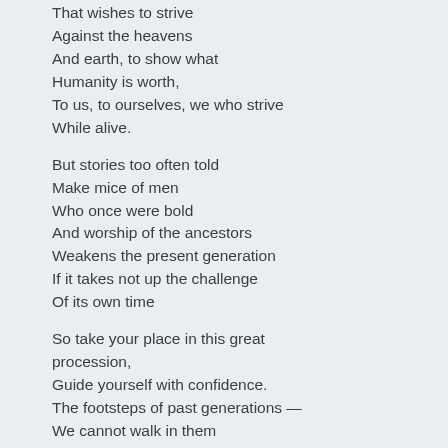That wishes to strive
Against the heavens
And earth, to show what
Humanity is worth,
To us, to ourselves, we who strive
While alive.

But stories too often told
Make mice of men
Who once were bold
And worship of the ancestors
Weakens the present generation
If it takes not up the challenge
Of its own time

So take your place in this great procession,
Guide yourself with confidence.
The footsteps of past generations —
We cannot walk in them
Any more than we can
wear their sandals.
What was past is dust
And the present is upon us.
We cannot wait for Great White Bothe...